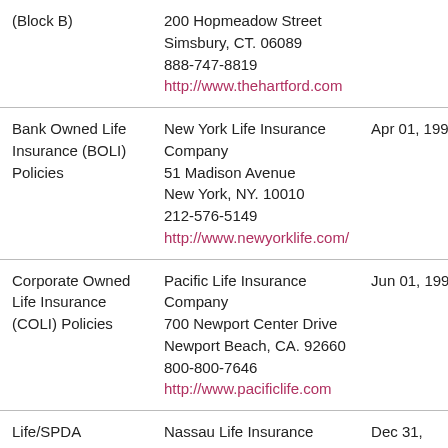| (Block B) | 200 Hopmeadow Street
Simsbury, CT. 06089
888-747-8819
http://www.thehartford.com |  |
| Bank Owned Life Insurance (BOLI) Policies | New York Life Insurance Company
51 Madison Avenue
New York, NY. 10010
212-576-5149
http://www.newyorklife.com/ | Apr 01, 1997 |
| Corporate Owned Life Insurance (COLI) Policies | Pacific Life Insurance Company
700 Newport Center Drive
Newport Beach, CA. 92660
800-800-7646
http://www.pacificlife.com | Jun 01, 1997 |
| Life/SPDA (Block A) | Nassau Life Insurance Company | Dec 31, 1997 |